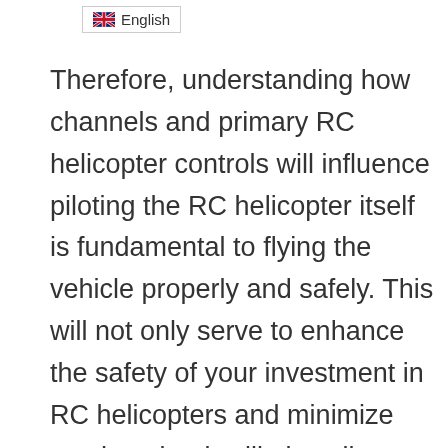English
Therefore, understanding how channels and primary RC helicopter controls will influence piloting the RC helicopter itself is fundamental to flying the vehicle properly and safely. This will not only serve to enhance the safety of your investment in RC helicopters and minimize crashes, but it will also allow you to take part in this hobby with less chance of personal injury as well.